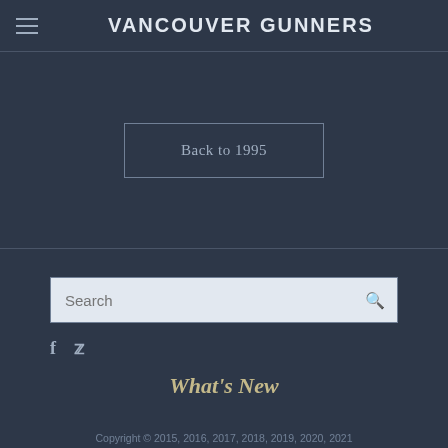VANCOUVER GUNNERS
Back to 1995
Search
f  🐦
What's New
Copyright © 2015, 2016, 2017, 2018, 2019, 2020, 2021